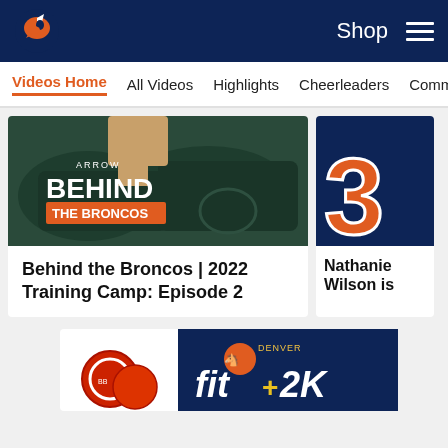Denver Broncos – Shop | Menu
Videos Home | All Videos | Highlights | Cheerleaders | Community
[Figure (screenshot): Video thumbnail: 'Behind the Broncos' Arrow Electronics branded training camp video thumbnail with BEHIND THE BRONCOS text overlay]
Behind the Broncos | 2022 Training Camp: Episode 2
[Figure (screenshot): Video thumbnail showing jersey number 3 in orange on dark blue background]
Nathanie Wilson is
[Figure (photo): Denver Broncos Fit 2K advertisement banner with logo and wristbands]